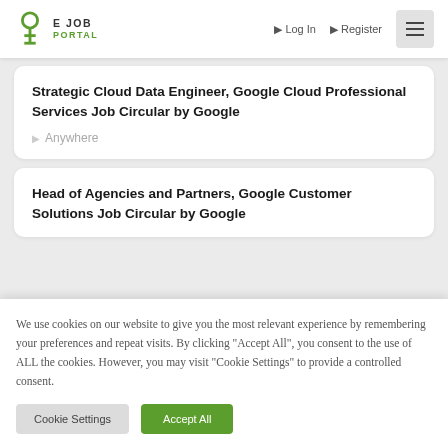E JOB PORTAL | Log In | Register
Strategic Cloud Data Engineer, Google Cloud Professional Services Job Circular by Google
Anywhere
Head of Agencies and Partners, Google Customer Solutions Job Circular by Google
We use cookies on our website to give you the most relevant experience by remembering your preferences and repeat visits. By clicking "Accept All", you consent to the use of ALL the cookies. However, you may visit "Cookie Settings" to provide a controlled consent.
Cookie Settings | Accept All